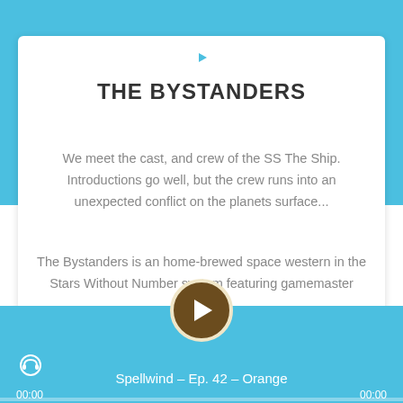[Figure (other): YouTube icon (play button) in white on blue background]
[Figure (other): Podcast icon in white on blue background]
THE BYSTANDERS
We meet the cast, and crew of the SS The Ship. Introductions go well, but the crew runs into an unexpected conflict on the planets surface...
The Bystanders is an home-brewed space western in the Stars Without Number system featuring gamemaster Bluejay.
[Figure (other): Audio player with play button, track name 'Spellwind – Ep. 42 – Orange', timestamps 00:00 and 00:00, speed icon, and progress bar on blue background]